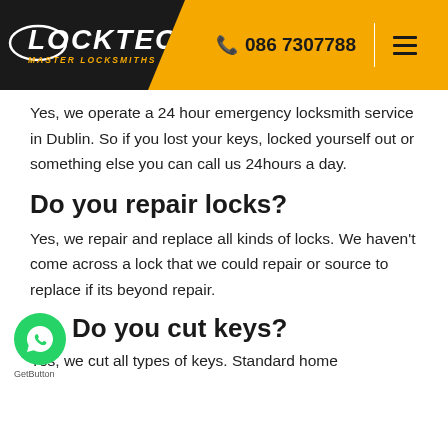[Figure (logo): Locktec Master Locksmiths logo with phone number 086 7307788 and hamburger menu on orange header]
Yes, we operate a 24 hour emergency locksmith service in Dublin. So if you lost your keys, locked yourself out or something else you can call us 24hours a day.
Do you repair locks?
Yes, we repair and replace all kinds of locks. We haven't come across a lock that we could repair or source to replace if its beyond repair.
Do you cut keys?
Yes, we cut all types of keys. Standard home